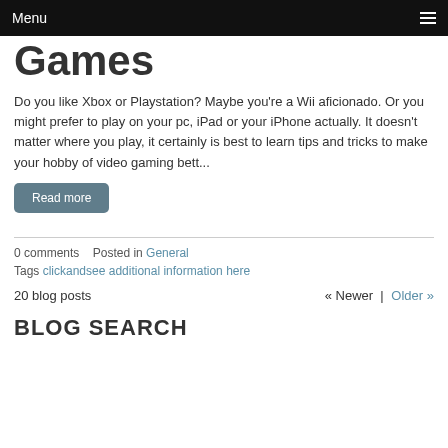Menu
Games
Do you like Xbox or Playstation? Maybe you're a Wii aficionado. Or you might prefer to play on your pc, iPad or your iPhone actually. It doesn't matter where you play, it certainly is best to learn tips and tricks to make your hobby of video gaming bett...
Read more
0 comments   Posted in General
Tags clickandsee additional information here
20 blog posts   « Newer | Older »
BLOG SEARCH